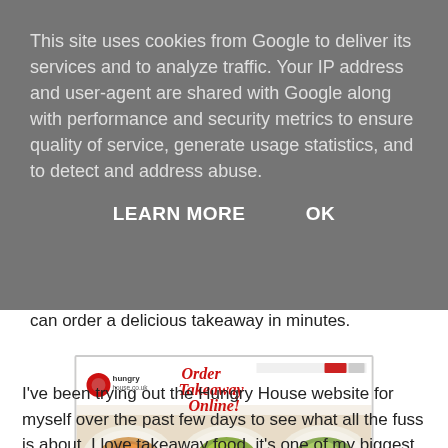This site uses cookies from Google to deliver its services and to analyze traffic. Your IP address and user-agent are shared with Google along with performance and security metrics to ensure quality of service, generate usage statistics, and to detect and address abuse.
LEARN MORE    OK
can order a delicious takeaway in minutes.
[Figure (screenshot): Screenshot of hungryhouse.co.uk website showing 'Order Takeaway Online!' tagline, three food plates, and a postcode search bar at the bottom with 'ORDER FOOD ONLINE → ENTER YOUR POSTCODE' and a green FIND button.]
I've been trying out the Hungry House website for myself over the past few days to see what all the fuss is about. I love takeaway food, it's one of my biggest